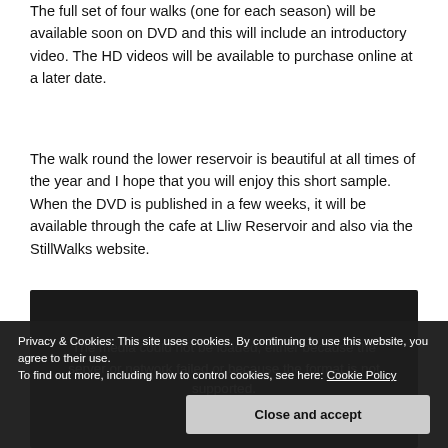The full set of four walks (one for each season) will be available soon on DVD and this will include an introductory video. The HD videos will be available to purchase online at a later date.
The walk round the lower reservoir is beautiful at all times of the year and I hope that you will enjoy this short sample. When the DVD is published in a few weeks, it will be available through the cafe at Lliw Reservoir and also via the StillWalks website.
[Figure (other): Video player showing error message: 'The media could not be loaded, either because the server or network failed or because the format is not supported.' Dark background with partially visible outdoor scenery.]
Privacy & Cookies: This site uses cookies. By continuing to use this website, you agree to their use. To find out more, including how to control cookies, see here: Cookie Policy